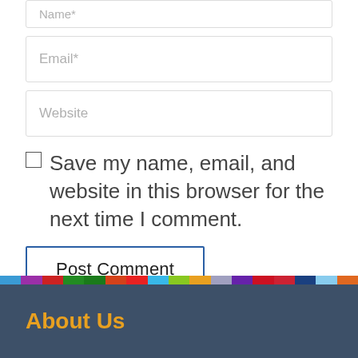Name*
Email*
Website
Save my name, email, and website in this browser for the next time I comment.
Post Comment
About Us